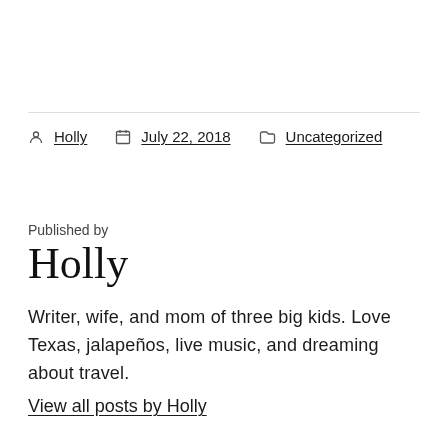Holly  July 22, 2018  Uncategorized
Published by
Holly
Writer, wife, and mom of three big kids. Love Texas, jalapeños, live music, and dreaming about travel.
View all posts by Holly